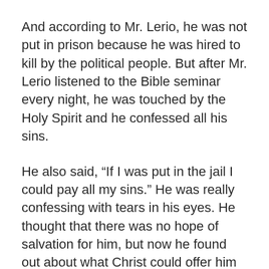And according to Mr. Lerio, he was not put in prison because he was hired to kill by the political people. But after Mr. Lerio listened to the Bible seminar every night, he was touched by the Holy Spirit and he confessed all his sins.
He also said, “If I was put in the jail I could pay all my sins.” He was really confessing with tears in his eyes. He thought that there was no hope of salvation for him, but now he found out about what Christ could offer him and he is very happy.
Mr. Lerio listened to the message every night; he was given hope when he accepted Jesus Christ as his personal Savior through